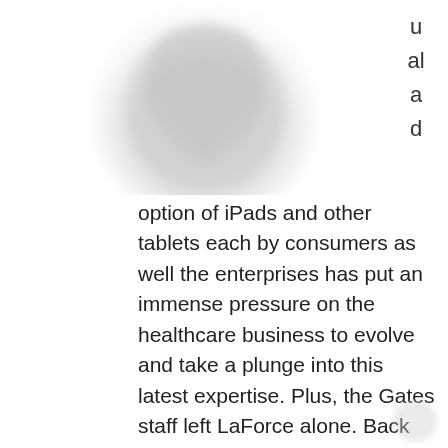[Figure (logo): Circular blurred logo or emblem, gray tones, partially cropped at top]
u
al
a
d
option of iPads and other tablets each by consumers as well the enterprises has put an immense pressure on the healthcare business to evolve and take a plunge into this latest expertise. Plus, the Gates staff left LaForce alone. Back then, the muse only employed a few dozen people who labored out of a small workplace in a residential neighborhood of Seattle. Staffers spent their time making lists of diseases, rating them by annual fatalities, then calling round to search out out which of them have been closest to being cured. Days after Missouri GOP Senator Jedd Hoelscher developed